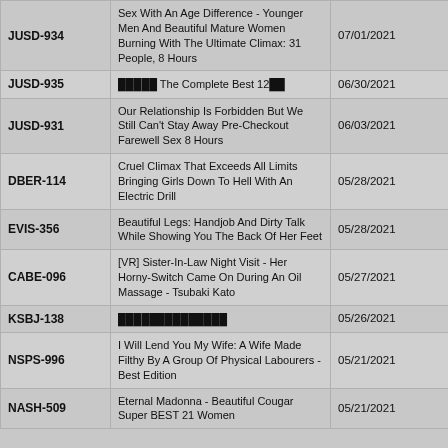| Code | Title | Date |
| --- | --- | --- |
| JUSD-934 | Sex With An Age Difference - Younger Men And Beautiful Mature Women Burning With The Ultimate Climax: 31 People, 8 Hours | 07/01/2021 |
| JUSD-935 | █████ The Complete Best 12██ | 06/30/2021 |
| JUSD-931 | Our Relationship Is Forbidden But We Still Can't Stay Away Pre-Checkout Farewell Sex 8 Hours | 06/03/2021 |
| DBER-114 | Cruel Climax That Exceeds All Limits Bringing Girls Down To Hell With An Electric Drill | 05/28/2021 |
| EVIS-356 | Beautiful Legs: Handjob And Dirty Talk While Showing You The Back Of Her Feet | 05/28/2021 |
| CABE-096 | [VR] Sister-In-Law Night Visit - Her Horny-Switch Came On During An Oil Massage - Tsubaki Kato | 05/27/2021 |
| KSBJ-138 | ██████████████ | 05/26/2021 |
| NSPS-996 | I Will Lend You My Wife: A Wife Made Filthy By A Group Of Physical Labourers - Best Edition | 05/21/2021 |
| NASH-509 | Eternal Madonna - Beautiful Cougar Super BEST 21 Women | 05/21/2021 |